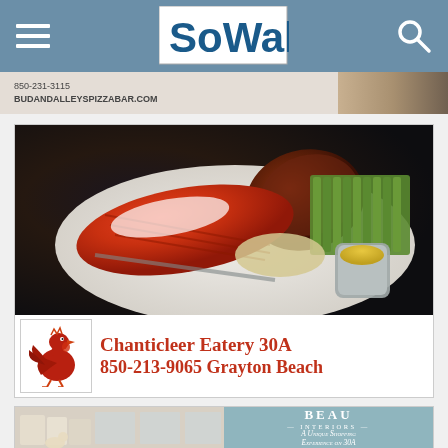SoWal navigation header with hamburger menu and search icon
[Figure (screenshot): Partial banner ad showing BUDANDALLEYSPIZZABAR.COM with pizza image]
[Figure (photo): Food photo showing lobster tail with steak, green beans, mashed potatoes and dipping sauce on white plate]
Chanticleer Eatery 30A
850-213-9065 Grayton Beach
[Figure (photo): Interior furnishings shop photo with white dog]
BEAU INTERIORS
A Unique Shopping Experience on 30A